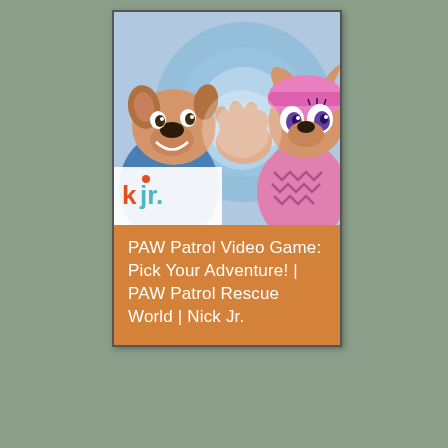[Figure (illustration): Cartoon illustration from PAW Patrol showing two animated dog characters. On the left is a tan/golden dog wearing a blue uniform, visible from chest up with a big smile. On the right is a female dog character with a pink outfit and large eyes with purple eyeshadow. The Nick Jr. logo is visible in the lower left corner of the image in teal/orange lettering. The background shows blue and white swirling motion lines.]
PAW Patrol Video Game: Pick Your Adventure! | PAW Patrol Rescue World | Nick Jr.